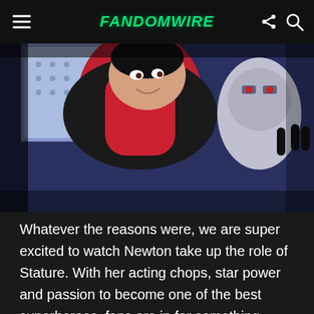FandomWire
[Figure (illustration): Comic book artwork showing a superhero character in red and black costume, with other characters in the background including what appears to be a robotic or armored figure]
Whatever the reasons were, we are super excited to watch Newton take up the role of Stature. With her acting chops, star power and passion to become one of the best superheroes, fans are in for something great.